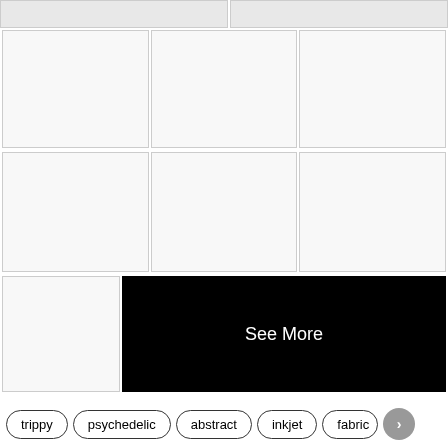[Figure (photo): Top partial row showing two cropped image thumbnails]
[Figure (photo): Second row of three white/empty image thumbnail cells]
[Figure (photo): Third row of three white/empty image thumbnail cells]
[Figure (photo): Fourth row with one image thumbnail and a black 'See More' button]
trippy
psychedelic
abstract
inkjet
fabric